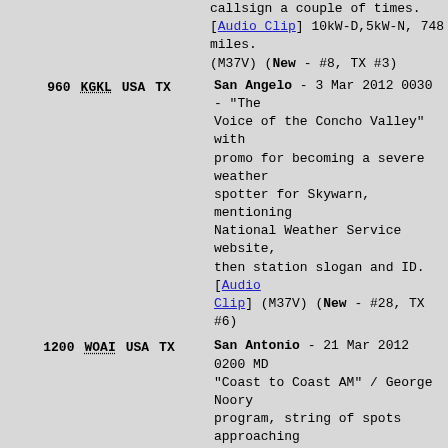callsign a couple of times. [Audio Clip] 10kW-D,5kW-N, 748 miles. (M37V) (New - #8, TX #3)
960 KGKL USA TX   San Angelo - 3 Mar 2012 0030 - "The Voice of the Concho Valley" with promo for becoming a severe weather spotter for Skywarn, mentioning National Weather Service website, then station slogan and ID.[Audio Clip] (M37V) (New - #28, TX #6)
1200 WOAI USA TX   San Antonio - 21 Mar 2012 0200 MD - "Coast to Coast AM" / George Noory program, string of spots approaching TOH mentioning call sign and freq several times ("News Radio Twelve Hundred, WOAI"), then finally legal ID at TOH. [Audio Clip] 50 kW, 64 miles (M37V) (New - #71, TX #17)
550 KTSA USA TX   San Antonio - 6 Mar 2012 1950 - W/ talk and discussion of Super Tuesday election. Election returns, etc. kW, 636 miles. (M37V) (New - #34, #7)
1540 KEDA USA TX   San Antonio - 21 Feb 2012 0000 - "This is KEDA San Antonio, Texas, Your Jalapeño Radio Station!" Same ID announcement as when I logged 7 years ago. Better [audio clip] this time. Night time power has